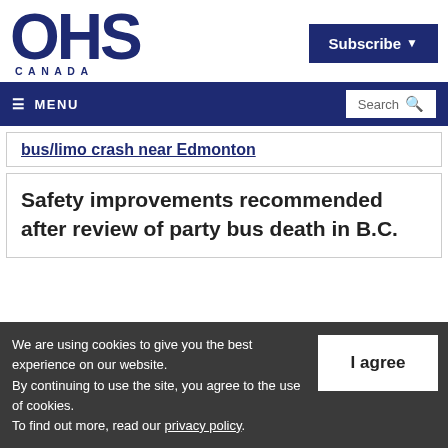OHS CANADA
Subscribe
MENU  Search
bus/limo crash near Edmonton
Safety improvements recommended after review of party bus death in B.C.
We are using cookies to give you the best experience on our website. By continuing to use the site, you agree to the use of cookies. To find out more, read our privacy policy.
I agree